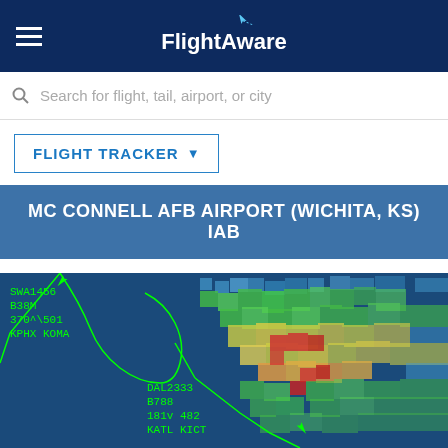FlightAware
Search for flight, tail, airport, or city
FLIGHT TRACKER ▼
MC CONNELL AFB AIRPORT (WICHITA, KS) IAB
[Figure (map): FlightAware flight tracking map showing aircraft near Wichita, KS with weather radar overlay. Flight labels visible: SWA1456, B38M, 370^\ 501, KPHX KOMA and DAL2333, B788, 181v 482, KATL KICT. Green flight path lines visible with aircraft icons. Weather radar shows precipitation in green, yellow, orange and red colors over central US.]